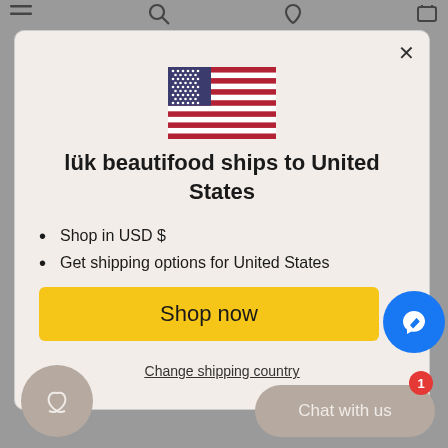[Figure (screenshot): Modal dialog on an e-commerce website showing a US flag, shipping information for United States, a Shop now button, and a Change shipping country link. A Messenger chat button and a Chat with us button are visible in the bottom-right corner.]
lük beautifood ships to United States
Shop in USD $
Get shipping options for United States
Shop now
Change shipping country
Chat with us